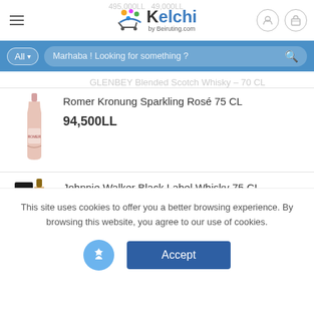Kelchi by Beiruting.com
Marhaba ! Looking for something ?
GLENBEY Blended Scotch Whisky – 70 CL
[Figure (photo): Product image of Romer Kronung Sparkling Rosé bottle]
Romer Kronung Sparkling Rosé 75 CL
94,500LL
[Figure (photo): Product image of Johnnie Walker Black Label Whisky bottles]
Johnnie Walker Black Label Whisky 75 CL
617,750LL  569,999LL
Featured
This site uses cookies to offer you a better browsing experience. By browsing this website, you agree to our use of cookies.